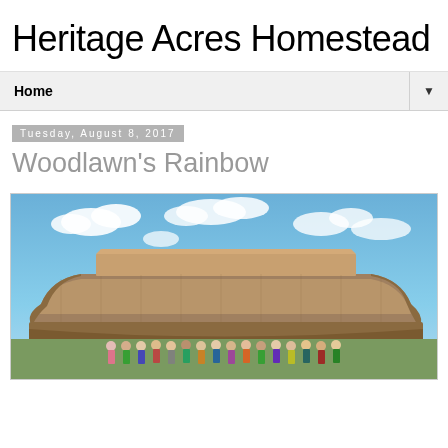Heritage Acres Homestead
Home
Tuesday, August 8, 2017
Woodlawn's Rainbow
[Figure (photo): A large wooden ark structure (Noah's Ark) photographed from the side against a blue sky with white clouds. A group of people stand in front of it at the base.]